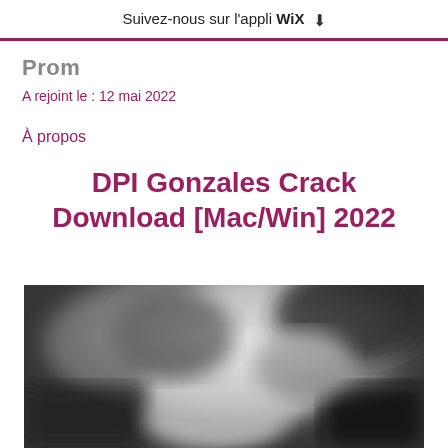Suivez-nous sur l'appli WiX ⬇
Prom
A rejoint le : 12 mai 2022
À propos
DPI Gonzales Crack Download [Mac/Win] 2022
[Figure (photo): Blurred black and white photograph, appears to show a person in a dark scene]